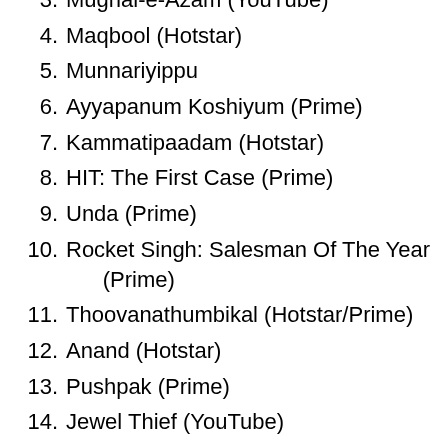3. Mughal-e-Azam (YouTube)
4. Maqbool (Hotstar)
5. Munnariyippu
6. Ayyapanum Koshiyum (Prime)
7. Kammatipaadam (Hotstar)
8. HIT: The First Case (Prime)
9. Unda (Prime)
10. Rocket Singh: Salesman Of The Year (Prime)
11. Thoovanathumbikal (Hotstar/Prime)
12. Anand (Hotstar)
13. Pushpak (Prime)
14. Jewel Thief (YouTube)
15. Garm Hava (YouTube)
16. Uthiripookal (YouTube)
17. Kaamyaab (Netflix)